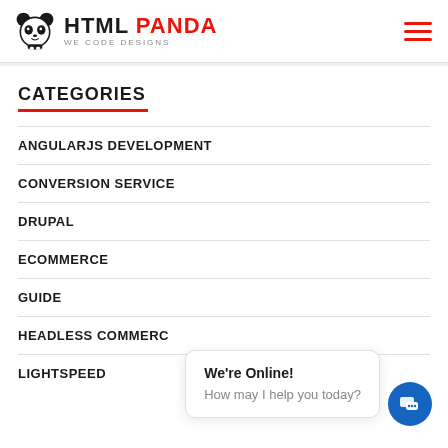HTML PANDA — WE CODE DESIGNS
CATEGORIES
ANGULARJS DEVELOPMENT
CONVERSION SERVICE
DRUPAL
ECOMMERCE
GUIDE
HEADLESS COMMERCE
LIGHTSPEED
We're Online! How may I help you today?